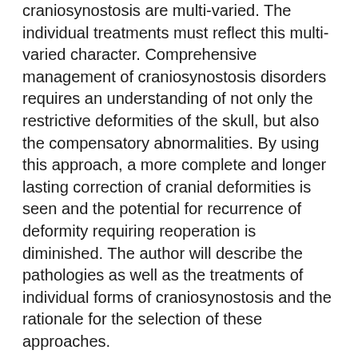craniosynostosis are multi-varied. The individual treatments must reflect this multi-varied character. Comprehensive management of craniosynostosis disorders requires an understanding of not only the restrictive deformities of the skull, but also the compensatory abnormalities. By using this approach, a more complete and longer lasting correction of cranial deformities is seen and the potential for recurrence of deformity requiring reoperation is diminished. The author will describe the pathologies as well as the treatments of individual forms of craniosynostosis and the rationale for the selection of these approaches.
Abstract: Vascular Anomalies
The treatment of hemangiomas and arterial venous